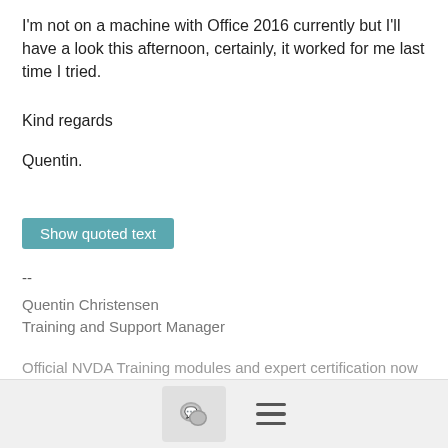I'm not on a machine with Office 2016 currently but I'll have a look this afternoon, certainly, it worked for me last time I tried.
Kind regards
Quentin.
Show quoted text
--
Quentin Christensen
Training and Support Manager
Official NVDA Training modules and expert certification now available: http://www.nvaccess.org/shop/
www.nvaccess.org
Facebook: http://www.facebook.com/NVAccess
Twitter: @NVAccess
[Figure (other): Footer toolbar with chat icon button and hamburger menu icon]